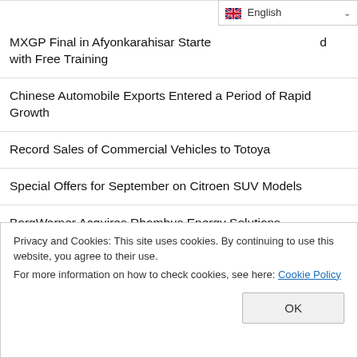English
MXGP Final in Afyonkarahisar Started with Free Training
Chinese Automobile Exports Entered a Period of Rapid Growth
Record Sales of Commercial Vehicles to Totoya
Special Offers for September on Citroen SUV Models
BorgWarner Acquires Rhombus Energy Solutions
LeasePlan Turkey Becomes the Main Sponsor of the '3rd Electric and Hybrid Vehicles Driving Week'
Low Interest Loan Offers from DS Automobiles
İmamoğlu's 'Extortion' Revolt: 16 Million's Rights Are Being Taken
Privacy and Cookies: This site uses cookies. By continuing to use this website, you agree to their use. For more information on how to check cookies, see here: Cookie Policy
Great Interest to Kayseri Science Center at TEKNOFEST